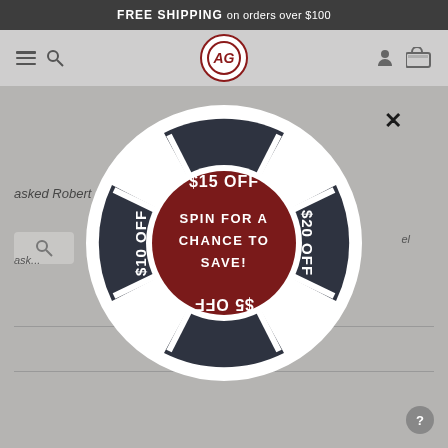FREE SHIPPING on orders over $100
[Figure (screenshot): E-commerce website navigation bar with hamburger menu, search icon, AG logo, user icon, and cart icon on grey background]
asked Robert Balla...
[Figure (infographic): Spin-to-win discount wheel popup with four quadrants: $15 OFF (top, dark), $20 OFF (right, dark), $5 OFF (bottom, dark, upside-down), $10 OFF (left, dark), center dark red circle with text SPIN FOR A CHANCE TO SAVE!]
SPIN FOR A CHANCE TO SAVE!